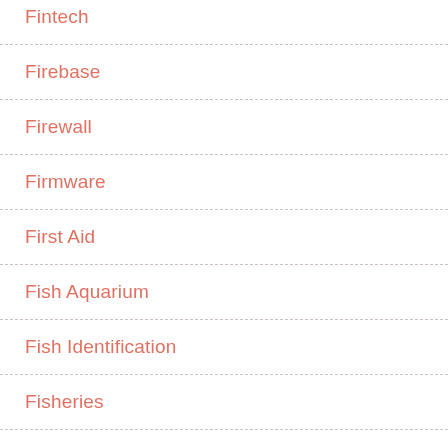Fintech
Firebase
Firewall
Firmware
First Aid
Fish Aquarium
Fish Identification
Fisheries
Fishing
Fitness